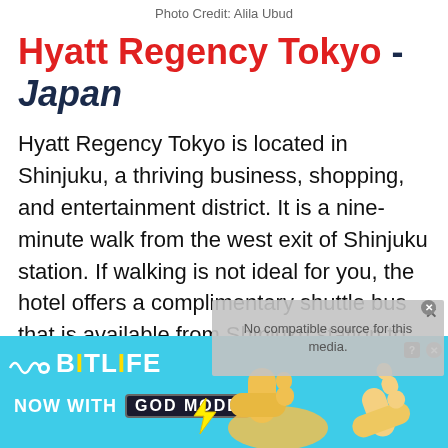Photo Credit: Alila Ubud
Hyatt Regency Tokyo - Japan
Hyatt Regency Tokyo is located in Shinjuku, a thriving business, shopping, and entertainment district. It is a nine-minute walk from the west exit of Shinjuku station. If walking is not ideal for you, the hotel offers a complimentary shuttle bus that is available from Shinjuku station to the hotel. Tokyo is one of my favorite cities in the world, but it can get very expensive for accommodation. This Hyatt Regency Tokyo is definitely a good choice to use
[Figure (screenshot): Advertisement banner for BitLife game with 'Now With GOD MODE' text on a cyan background with cartoon hand graphics]